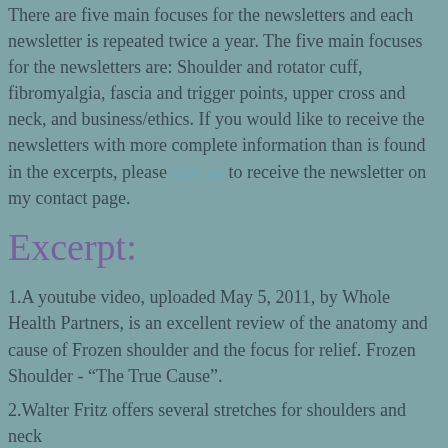There are five main focuses for the newsletters and each newsletter is repeated twice a year. The five main focuses for the newsletters are: Shoulder and rotator cuff, fibromyalgia, fascia and trigger points, upper cross and neck, and business/ethics. If you would like to receive the newsletters with more complete information than is found in the excerpts, please sign up to receive the newsletter on my contact page.
Excerpt:
1.A youtube video, uploaded May 5, 2011, by Whole Health Partners, is an excellent review of the anatomy and cause of Frozen shoulder and the focus for relief. Frozen Shoulder - “The True Cause”.
2.Walter Fritz offers several stretches for shoulders and neck